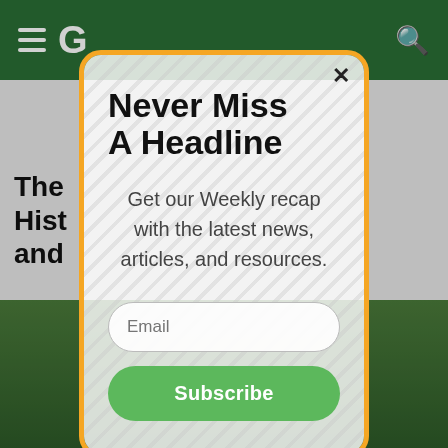G [hamburger menu] [search icon]
Never Miss A Headline
Get our Weekly recap with the latest news, articles, and resources.
Email
Subscribe